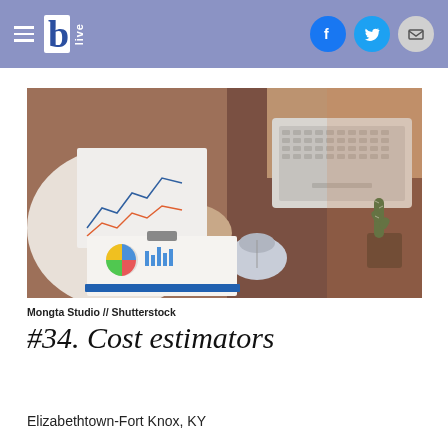b.live
[Figure (photo): Person reviewing financial charts and graphs on paper, with a laptop, computer mouse, and small cactus plant on a wooden desk – a business/finance workspace scene.]
Mongta Studio // Shutterstock
#34. Cost estimators
Elizabethtown-Fort Knox, KY